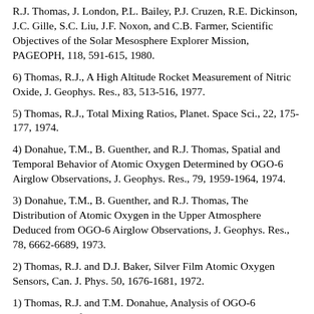R.J. Thomas, J. London, P.L. Bailey, P.J. Cruzen, R.E. Dickinson, J.C. Gille, S.C. Liu, J.F. Noxon, and C.B. Farmer, Scientific Objectives of the Solar Mesosphere Explorer Mission, PAGEOPH, 118, 591-615, 1980.
6) Thomas, R.J., A High Altitude Rocket Measurement of Nitric Oxide, J. Geophys. Res., 83, 513-516, 1977.
5) Thomas, R.J., Total Mixing Ratios, Planet. Space Sci., 22, 175-177, 1974.
4) Donahue, T.M., B. Guenther, and R.J. Thomas, Spatial and Temporal Behavior of Atomic Oxygen Determined by OGO-6 Airglow Observations, J. Geophys. Res., 79, 1959-1964, 1974.
3) Donahue, T.M., B. Guenther, and R.J. Thomas, The Distribution of Atomic Oxygen in the Upper Atmosphere Deduced from OGO-6 Airglow Observations, J. Geophys. Res., 78, 6662-6689, 1973.
2) Thomas, R.J. and D.J. Baker, Silver Film Atomic Oxygen Sensors, Can. J. Phys. 50, 1676-1681, 1972.
1) Thomas, R.J. and T.M. Donahue, Analysis of OGO-6 Observations of the OI 5577 / Tropical F-region Nightglow, J. Geophys. Res., 77, 3557-3565, 1972.